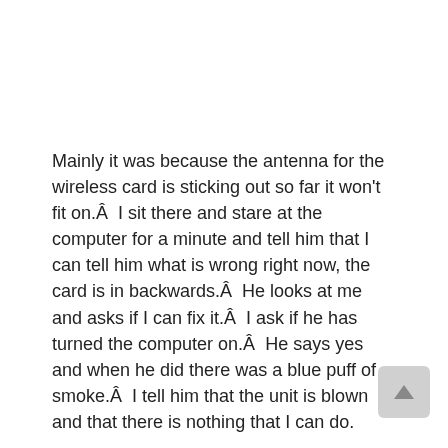Mainly it was because the antenna for the wireless card is sticking out so far it won't fit on.Â  I sit there and stare at the computer for a minute and tell him that I can tell him what is wrong right now, the card is in backwards.Â  He looks at me and asks if I can fix it.Â  I ask if he has turned the computer on.Â  He says yes and when he did there was a blue puff of smoke.Â  I tell him that the unit is blown and that there is nothing that I can do.
We are quite for some time.
He then looks around and asks what should he do.Â  I tell him buy a new computer.Â  He asks if there is anything I can take this in for.Â  Sure, a diag